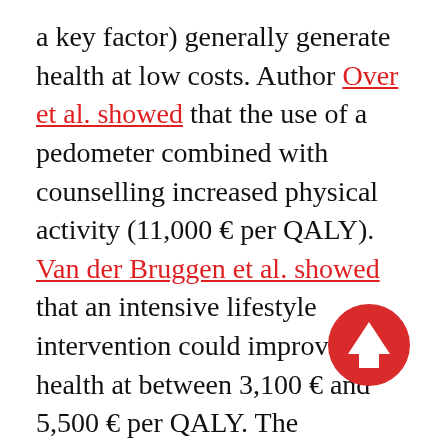a key factor) generally generate health at low costs. Author Over et al. showed that the use of a pedometer combined with counselling increased physical activity (11,000 € per QALY). Van der Bruggen et al. showed that an intensive lifestyle intervention could improve health at between 3,100 € and 5,500 € per QALY. The efficiency with which health, in terms of QALYs, can be purchased, is relevant information: in a finite budget, you can choose to spend resources in a manner that yields a lot of health return, or you can direct resources to interventions that are very costly at very little (health) return. Investing in effective weight
[Figure (other): A red circular button with a white upward-pointing arrow icon, overlaid on the text at the bottom right.]